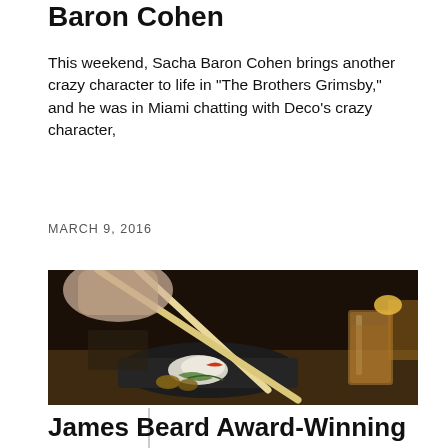Baron Cohen
This weekend, Sacha Baron Cohen brings another crazy character to life in "The Brothers Grimsby," and he was in Miami chatting with Deco's crazy character,
MARCH 9, 2016
[Figure (photo): Close-up photo of chopsticks picking up food from a dark plate with Japanese-style presentation, drinks visible in background]
James Beard Award-Winning